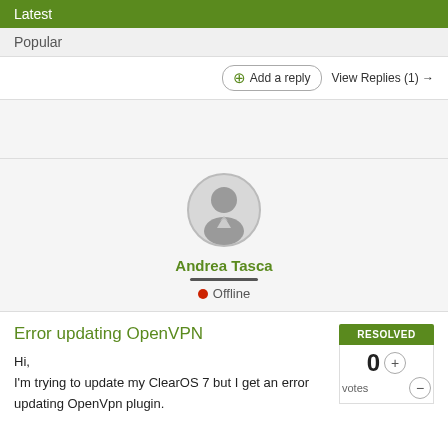Latest
Popular
⊕ Add a reply   View Replies (1) →
[Figure (illustration): User avatar silhouette circle]
Andrea Tasca
● Offline
Error updating OpenVPN
RESOLVED
Hi,
I'm trying to update my ClearOS 7 but I get an error updating OpenVpn plugin.
0 votes